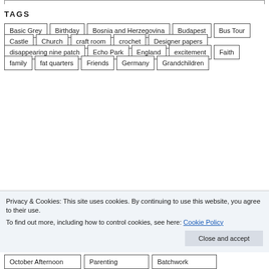TAGS
Basic Grey
Birthday
Bosnia and Herzegovina
Budapest
Bus Tour
Castle
Church
craft room
crochet
Designer papers
disappearing nine patch
Echo Park
England
excitement
Faith
family
fat quarters
Friends
Germany
Grandchildren
Privacy & Cookies: This site uses cookies. By continuing to use this website, you agree to their use.
To find out more, including how to control cookies, see here: Cookie Policy
October Afternoon
Parenting
Batchwork